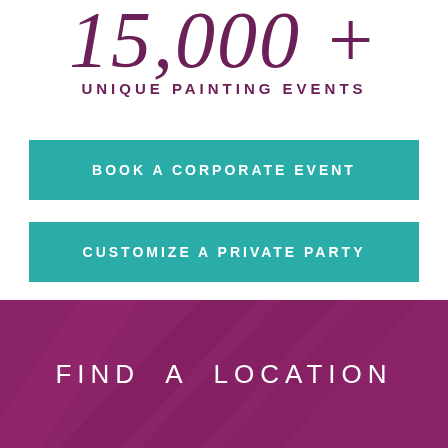15,000 +
UNIQUE PAINTING EVENTS
BOOK A CORPORATE EVENT
CUSTOMIZE A PRIVATE PARTY
FIND A LOCATION